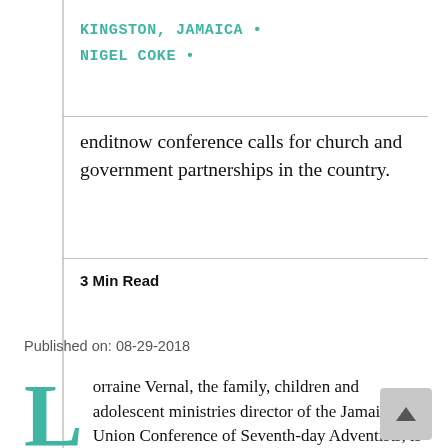KINGSTON, JAMAICA • NIGEL COKE •
enditnow conference calls for church and government partnerships in the country.
3 Min Read
Published on: 08-29-2018
Lorraine Vernal, the family, children and adolescent ministries director of the Jamaica Union Conference of Seventh-day Adventists, is appealing to the church community to report criminal